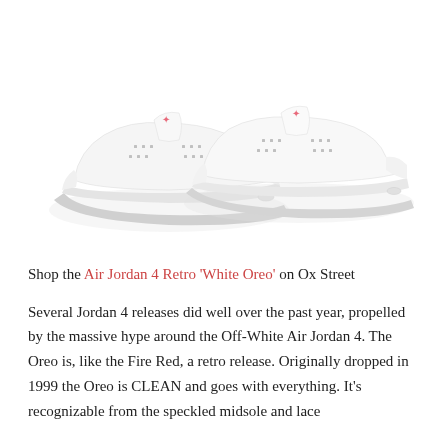[Figure (photo): Two white Air Jordan 4 Retro sneakers displayed against a white background, showing the pair from a three-quarter angle. The shoes feature the Jumpman logo in pink/red on the tongue, white leather upper, white midsole, and subtle grey detailing on the eyelets and outsole.]
Shop the Air Jordan 4 Retro ‘White Oreo’ on Ox Street
Several Jordan 4 releases did well over the past year, propelled by the massive hype around the Off-White Air Jordan 4. The Oreo is, like the Fire Red, a retro release. Originally dropped in 1999 the Oreo is CLEAN and goes with everything. It’s recognizable from the speckled midsole and lace